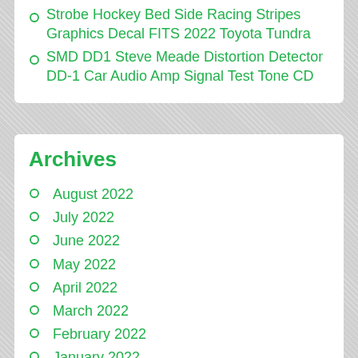Strobe Hockey Bed Side Racing Stripes Graphics Decal FITS 2022 Toyota Tundra
SMD DD1 Steve Meade Distortion Detector DD-1 Car Audio Amp Signal Test Tone CD
Archives
August 2022
July 2022
June 2022
May 2022
April 2022
March 2022
February 2022
January 2022
December 2021
November 2021
October 2021